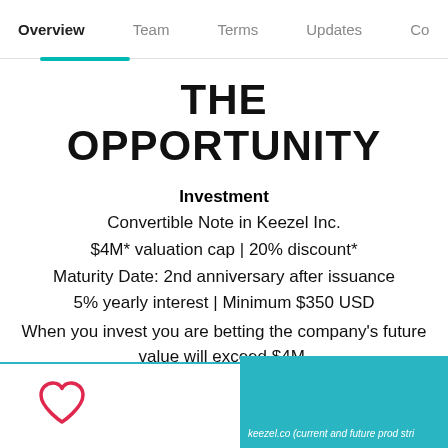Overview   Team   Terms   Updates   Co...
THE OPPORTUNITY
Investment
Convertible Note in Keezel Inc.
$4M* valuation cap | 20% discount*
Maturity Date: 2nd anniversary after issuance
5% yearly interest | Minimum $350 USD
When you invest you are betting the company's future value will exceed $4M.
*converts at the lesser of the two